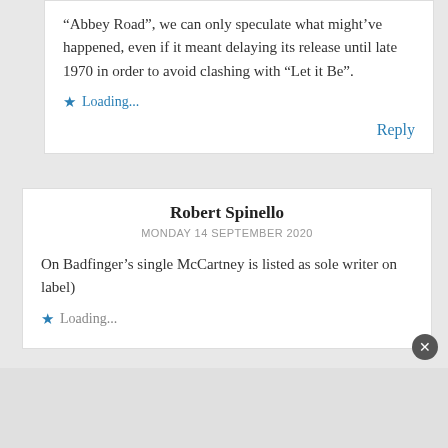“Abbey Road”, we can only speculate what might’ve happened, even if it meant delaying its release until late 1970 in order to avoid clashing with “Let it Be”.
Loading...
Reply
Robert Spinello
MONDAY 14 SEPTEMBER 2020
On Badfinger’s single McCartney is listed as sole writer on label)
Loading...